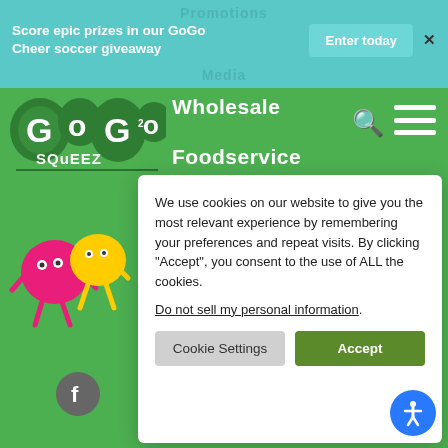Promotions
Score epic prizes in our GoGo Cheer soccer giveaway
Enter today
Media
[Figure (logo): GoGo Squeez logo — green rounded bubbly letters with cartoon styling]
Wholesale
Foodservice
[Figure (illustration): GoGo Squeez cartoon mascots — pink and yellow round characters with arms and legs]
We use cookies on our website to give you the most relevant experience by remembering your preferences and repeat visits. By clicking “Accept”, you consent to the use of ALL the cookies.
Do not sell my personal information.
Cookie Settings
Accept